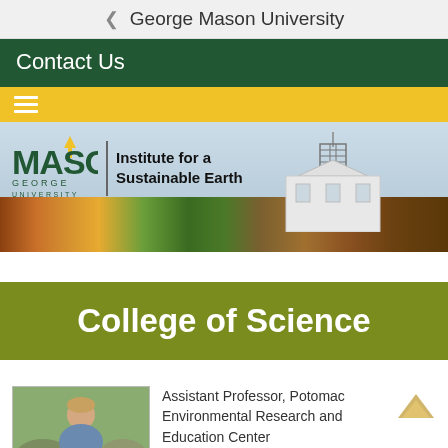George Mason University
Contact Us
[Figure (screenshot): George Mason University Institute for a Sustainable Earth banner with campus building and autumn trees in background]
College of Science
[Figure (photo): Profile photo of a person outdoors near rocks]
Assistant Professor, Potomac Environmental Research and Education Center